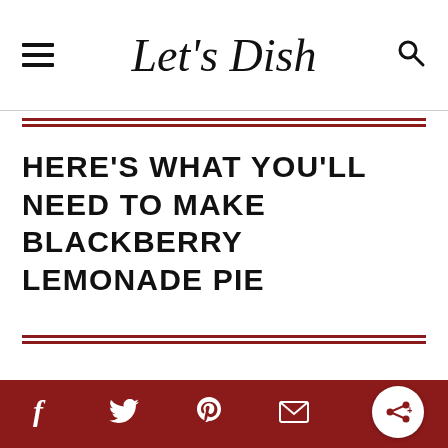Let's Dish
HERE'S WHAT YOU'LL NEED TO MAKE BLACKBERRY LEMONADE PIE
Facebook  Twitter  Pinterest  Email  Share